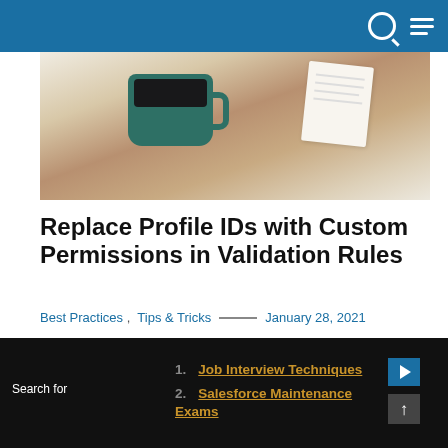[Figure (photo): Hero image showing a coffee mug, notebook and documents on a wooden desk surface]
Replace Profile IDs with Custom Permissions in Validation Rules
Best Practices , Tips & Tricks — January 28, 2021
Are you using profile IDs in your validation rules? It's a very common practice to circumvent validations under certain circumstances. Adding the Admin profile id to a validation lets admins get around validations. It's a popular way to set your org up. The Problem The
1. Job Interview Techniques
2. Salesforce Maintenance Exams